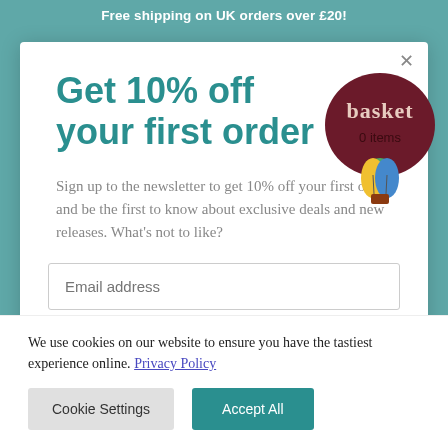Free shipping on UK orders over £20!
Get 10% off your first order
[Figure (illustration): Hot air balloon badge with dark red/maroon circular shape, text 'basket' in cream/pink letters, and '0 items' below in dark text, with a colorful hot air balloon illustration at the bottom]
Sign up to the newsletter to get 10% off your first order and be the first to know about exclusive deals and new releases. What's not to like?
Email address
We use cookies on our website to ensure you have the tastiest experience online. Privacy Policy
Cookie Settings
Accept All